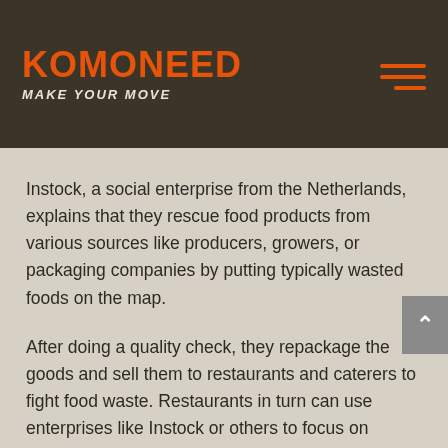KOMONEED — MAKE YOUR MOVE
Instock, a social enterprise from the Netherlands, explains that they rescue food products from various sources like producers, growers, or packaging companies by putting typically wasted foods on the map.
After doing a quality check, they repackage the goods and sell them to restaurants and caterers to fight food waste. Restaurants in turn can use enterprises like Instock or others to focus on reducing waste and primarily relying on food that is both in season and in stock.